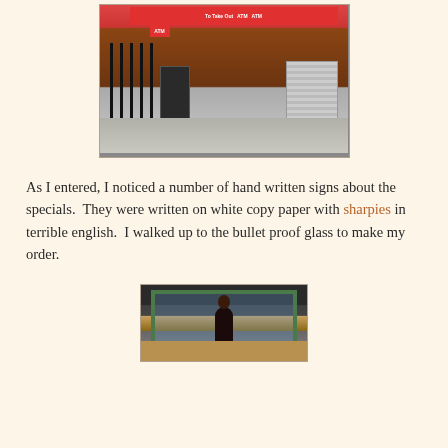[Figure (photo): Street-level photo of a storefront with ATM sign, iron fence/gate, a shuttered adjacent unit, and sidewalk in front.]
As I entered, I noticed a number of hand written signs about the specials.  They were written on white copy paper with sharpies in terrible english.  I walked up to the bullet proof glass to make my order.
[Figure (photo): Photo of a bullet-proof glass counter window with green marble-like frame, a person standing with their back to the camera facing the window.]